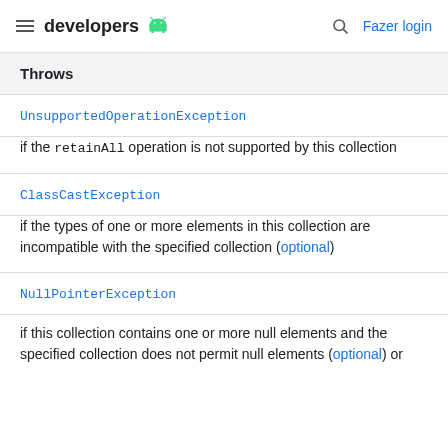developers [android logo] Fazer login
Throws
UnsupportedOperationException
if the retainAll operation is not supported by this collection
ClassCastException
if the types of one or more elements in this collection are incompatible with the specified collection (optional)
NullPointerException
if this collection contains one or more null elements and the specified collection does not permit null elements (optional) or